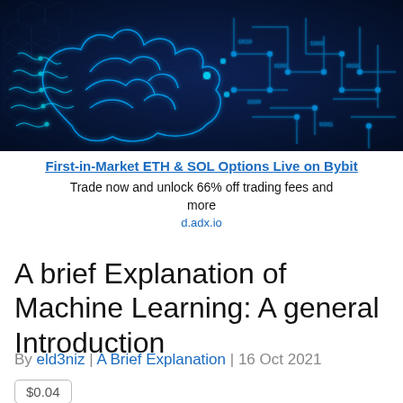[Figure (illustration): Glowing blue neural network / brain circuit board illustration on dark background]
First-in-Market ETH & SOL Options Live on Bybit
Trade now and unlock 66% off trading fees and more
d.adx.io
A brief Explanation of Machine Learning: A general Introduction
By eld3niz | A Brief Explanation | 16 Oct 2021
$0.04